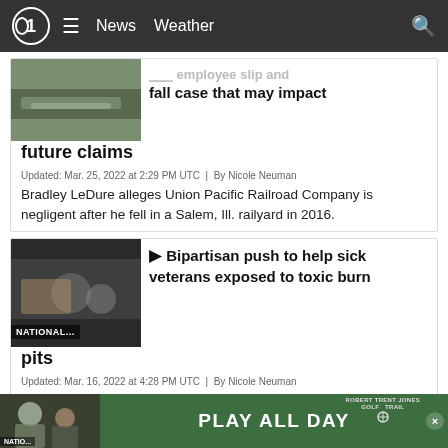CBS News — Navigation: News, Weather, Search
[Figure (screenshot): Partial article thumbnail showing railroad/train image]
fall case that may impact future claims
Updated: Mar. 25, 2022 at 2:29 PM UTC | By Nicole Neuman
Bradley LeDure alleges Union Pacific Railroad Company is negligent after he fell in a Salem, Ill. railyard in 2016.
[Figure (photo): Thumbnail labeled NATIONAL... showing people at table]
Bipartisan push to help sick veterans exposed to toxic burn pits
Updated: Mar. 16, 2022 at 4:28 PM UTC | By Nicole Neuman
President Biden is promising to help veterans impacted.
[Figure (photo): Advertisement banner: Play All Day — Robert Trent Jones Golf Trail]
[Figure (photo): Bottom partial article thumbnail labeled NATIO...]